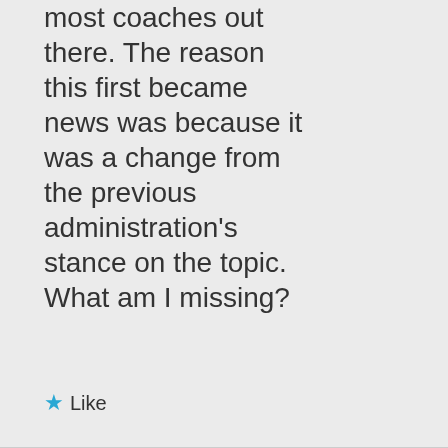most coaches out there. The reason this first became news was because it was a change from the previous administration's stance on the topic. What am I missing?
Like